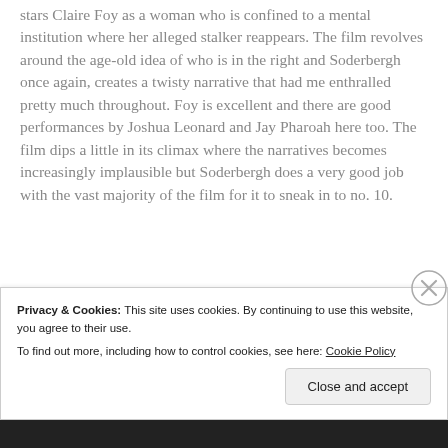stars Claire Foy as a woman who is confined to a mental institution where her alleged stalker reappears. The film revolves around the age-old idea of who is in the right and Soderbergh once again, creates a twisty narrative that had me enthralled pretty much throughout. Foy is excellent and there are good performances by Joshua Leonard and Jay Pharoah here too. The film dips a little in its climax where the narratives becomes increasingly implausible but Soderbergh does a very good job with the vast majority of the film for it to sneak in to no. 10.
Privacy & Cookies: This site uses cookies. By continuing to use this website, you agree to their use.
To find out more, including how to control cookies, see here: Cookie Policy